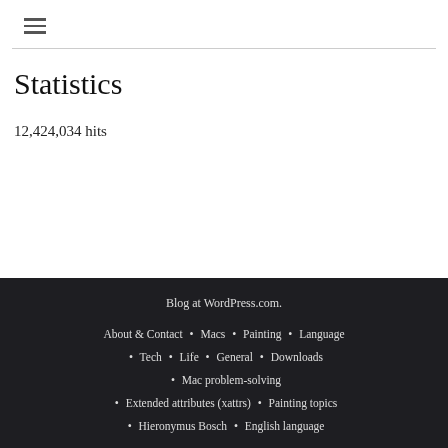☰
Statistics
12,424,034 hits
Blog at WordPress.com. About & Contact · Macs · Painting · Language · Tech · Life · General · Downloads · Mac problem-solving · Extended attributes (xattrs) · Painting topics · Hieronymus Bosch · English language